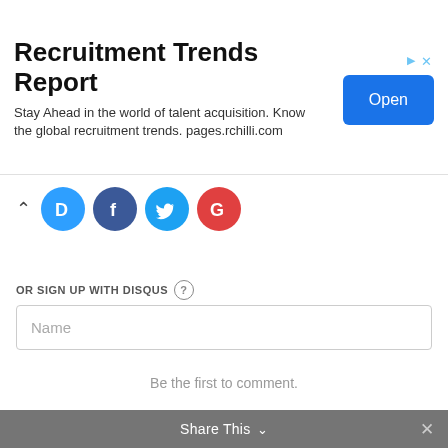[Figure (infographic): Advertisement banner for Recruitment Trends Report with title, subtitle text 'Stay Ahead in the world of talent acquisition. Know the global recruitment trends. pages.rchilli.com', and a blue Open button]
[Figure (infographic): Social login icons: Disqus (blue D), Facebook (dark blue f), Twitter (light blue bird), Google (red G) with a caret/arrow up]
OR SIGN UP WITH DISQUS
Name
Be the first to comment.
Subscribe   Add Disqus   Do Not Sell My Data   DISQUS
Share This  ×